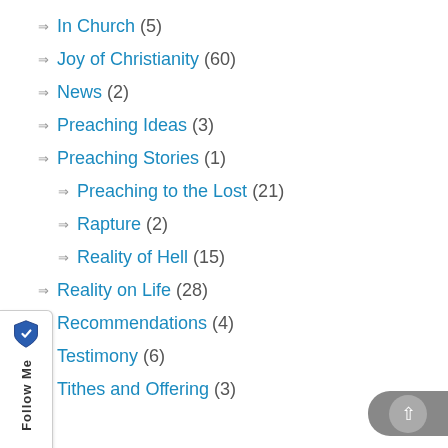In Church (5)
Joy of Christianity (60)
News (2)
Preaching Ideas (3)
Preaching Stories (1)
Preaching to the Lost (21)
Rapture (2)
Reality of Hell (15)
Reality on Life (28)
Recommendations (4)
Testimony (6)
Tithes and Offering (3)